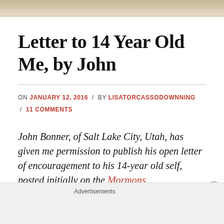[Figure (photo): Decorative banner image with aged parchment/scroll texture in tan and brown tones]
Letter to 14 Year Old Me, by John
ON JANUARY 12, 2016 / BY LISATORCASSODOWNNING / 11 COMMENTS
John Bonner, of Salt Lake City, Utah, has given me permission to publish his open letter of encouragement to his 14-year old self, posted initially on the Mormons
Advertisements